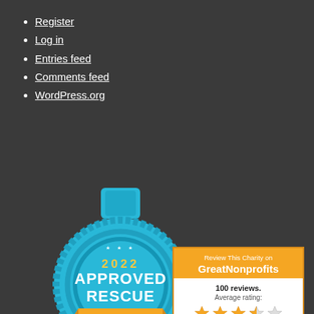Register
Log in
Entries feed
Comments feed
WordPress.org
[Figure (logo): 2022 Approved Rescue badge from Adopt-A-Pet.com — a blue circular medal/rosette with ribbon, showing '2022' in gold, 'APPROVED RESCUE' in white bold text, and 'ADOPT-A-PET.COM' on an orange banner ribbon at the bottom.]
[Figure (infographic): GreatNonprofits charity review widget. Orange background with white text 'Review This Charity on GreatNonprofits'. White inset box showing '100 reviews. Average rating:' with 3.5 out of 5 stars. Bottom orange section reads 'Read reviews about A Forever-Home Rescue Foundation, Inc.']